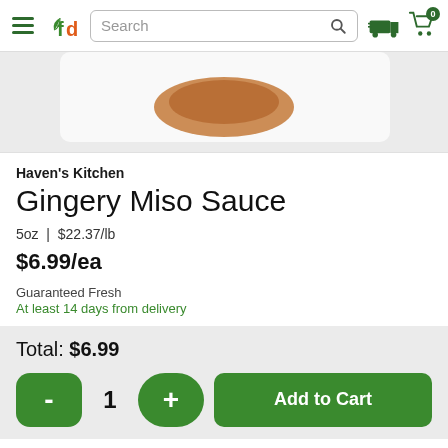[Figure (screenshot): FreshDirect website header with hamburger menu, leaf+fd logo, search bar, delivery truck icon, and shopping cart with 0 badge]
[Figure (photo): Partial product photo showing Gingery Miso Sauce on a white plate/tray, cropped to show bottom portion of sauce packaging]
Haven's Kitchen
Gingery Miso Sauce
5oz | $22.37/lb
$6.99/ea
Guaranteed Fresh
At least 14 days from delivery
Total: $6.99
- 1 + Add to Cart